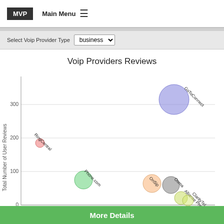MVP  Main Menu
Select Voip Provider Type  business
[Figure (bubble-chart): Bubble chart showing VoIP providers plotted by Overall Ratings (x-axis, ~75-105) vs Total Number of User Reviews (y-axis, 0-300+). Bubbles: GoToConnect (~100 rating, ~265 reviews, large blue), RingCentral (~78 rating, ~155 reviews, small pink), Phone.com (~88 rating, ~65 reviews, medium green), OnSip (~96 rating, ~55 reviews, medium orange), Ooma (~99 rating, ~50 reviews, medium gray), Alliance Phones (~100 rating, ~15 reviews, small yellow-green), ClarityTel (~101 rating, ~10 reviews, small yellow-green overlapping).]
More Details